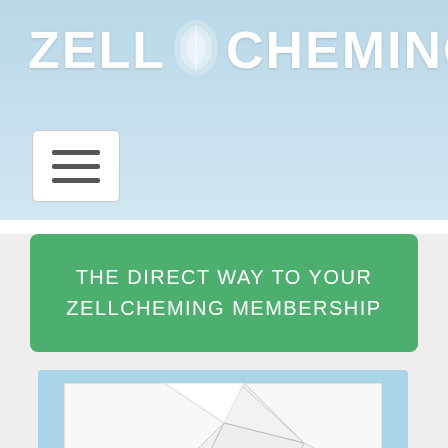ZELL CHEMING
[Figure (screenshot): Hamburger menu button with three horizontal lines]
THE DIRECT WAY TO YOUR ZELLCHEMING MEMBERSHIP
[Figure (photo): Abstract paper pieces arranged in a geometric pattern on light blue background]